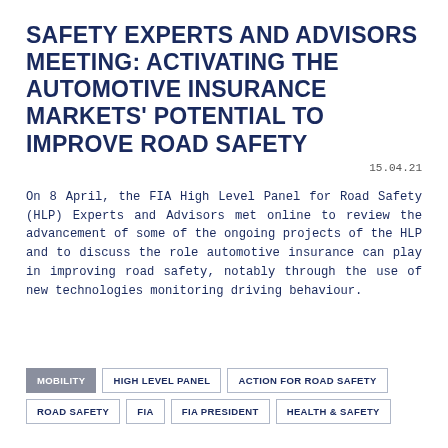SAFETY EXPERTS AND ADVISORS MEETING: ACTIVATING THE AUTOMOTIVE INSURANCE MARKETS' POTENTIAL TO IMPROVE ROAD SAFETY
15.04.21
On 8 April, the FIA High Level Panel for Road Safety (HLP) Experts and Advisors met online to review the advancement of some of the ongoing projects of the HLP and to discuss the role automotive insurance can play in improving road safety, notably through the use of new technologies monitoring driving behaviour.
MOBILITY
HIGH LEVEL PANEL
ACTION FOR ROAD SAFETY
ROAD SAFETY
FIA
FIA PRESIDENT
HEALTH & SAFETY